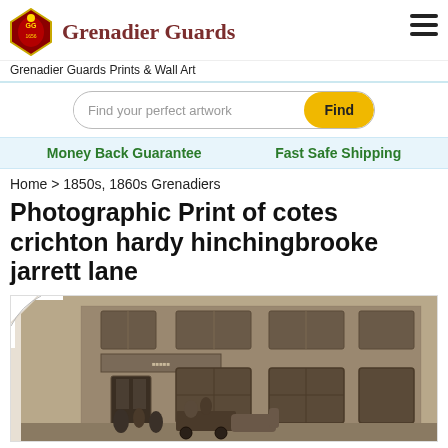Grenadier Guards
Grenadier Guards Prints & Wall Art
Find your perfect artwork
Money Back Guarantee   Fast Safe Shipping
Home > 1850s, 1860s Grenadiers
Photographic Print of cotes crichton hardy hinchingbrooke jarrett lane
[Figure (photo): Sepia photograph mounted as a print showing a brick building facade with arched windows, people and a carriage in front, displayed with a curled corner effect on white background.]